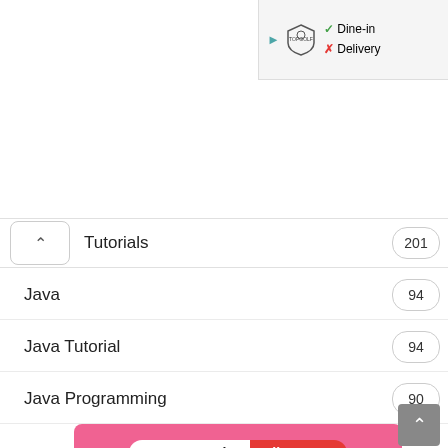[Figure (screenshot): Top ad banner for Topgolf with Dine-in checkmark and Delivery X icons]
Tutorials  201
Java  94
Java Tutorial  94
Java Programming  90
[Figure (screenshot): AliExpress Summer Sale banner: Official picks, Shop now, with robot vacuum image on pink background]